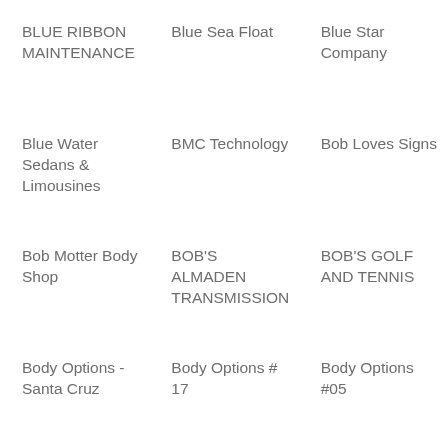BLUE RIBBON MAINTENANCE
Blue Sea Float
Blue Star Company
Blue Water Sedans & Limousines
BMC Technology
Bob Loves Signs
Bob Motter Body Shop
BOB'S ALMADEN TRANSMISSION
BOB'S GOLF AND TENNIS
Body Options - Santa Cruz
Body Options # 17
Body Options #05